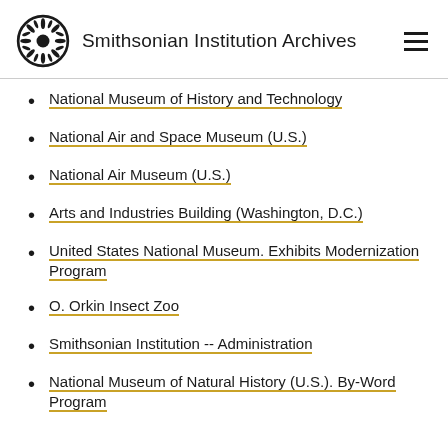Smithsonian Institution Archives
National Museum of History and Technology
National Air and Space Museum (U.S.)
National Air Museum (U.S.)
Arts and Industries Building (Washington, D.C.)
United States National Museum. Exhibits Modernization Program
O. Orkin Insect Zoo
Smithsonian Institution -- Administration
National Museum of Natural History (U.S.). By-Word Program